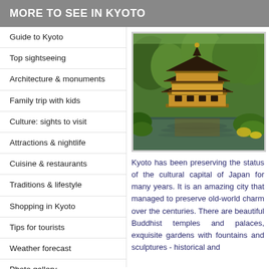MORE TO SEE IN KYOTO
Guide to Kyoto
Top sightseeing
Architecture & monuments
Family trip with kids
Culture: sights to visit
Attractions & nightlife
Cuisine & restaurants
Traditions & lifestyle
Shopping in Kyoto
Tips for tourists
Weather forecast
Photo gallery
Maps of Kyoto
[Figure (photo): Golden Pavilion (Kinkaku-ji) temple reflected in water, surrounded by green trees and gardens in Kyoto, Japan]
Kyoto has been preserving the status of the cultural capital of Japan for many years. It is an amazing city that managed to preserve old-world charm over the centuries. There are beautiful Buddhist temples and palaces, exquisite gardens with fountains and sculptures - historical and